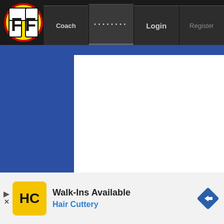[Figure (screenshot): Fantasy Football website navigation bar with FF logo, Coach tab, password dots tab (active), Login tab, and Register tab on dark background]
[Figure (screenshot): White content panel in center of blue background, with MR FOOTBALL banner in gray diagonal stripe pattern below it]
MR FOOTBALL
[Figure (screenshot): Hair Cuttery advertisement banner: Walk-Ins Available / Hair Cuttery with yellow HC logo and blue diamond arrow icon]